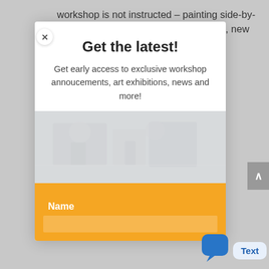workshop is not instructed – painting side-by-side with fellow artists provides growth, new skills, and new
Get the latest!
Get early access to exclusive workshop annoucements, art exhibitions, news and more!
[Figure (photo): Faded/greyed out photo of artists painting side by side in a workshop setting]
Name